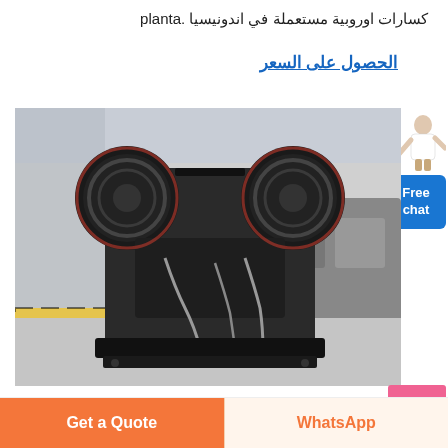كسارات اوروبية مستعملة في اندونيسيا .planta
الحصول على السعر
[Figure (photo): Industrial jaw crusher machine inside a large factory/warehouse, showing large black flywheels and crusher mechanism with hydraulic lines, industrial setting with other heavy machinery in background]
Free chat
Get a Quote
WhatsApp